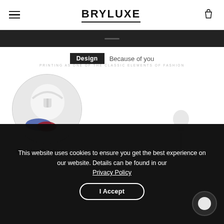BRYLUXE
[Figure (photo): Dark banner strip below navigation bar with a small horizontal line indicator]
Design  Because of you
PRINTING AS ONE OF THE CLASSIC ELEMENTS OF FASHION
[Figure (photo): Circular cropped product photo showing close-up of a white hoodie with colorful graphic print on a mannequin]
Fashion Printing
[Figure (photo): White mannequin torso/head form on white background, partially visible on the right side]
This website uses cookies to ensure you get the best experience on our website. Details can be found in our
Privacy Policy
I Accept